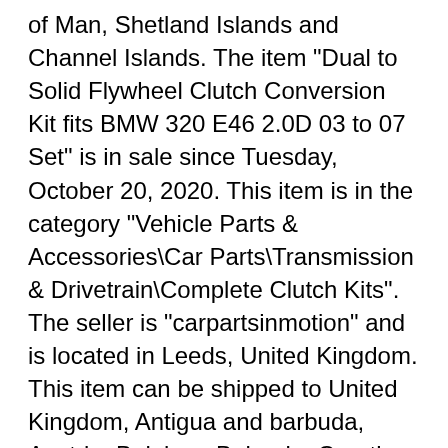of Man, Shetland Islands and Channel Islands. The item "Dual to Solid Flywheel Clutch Conversion Kit fits BMW 320 E46 2.0D 03 to 07 Set" is in sale since Tuesday, October 20, 2020. This item is in the category "Vehicle Parts & Accessories\Car Parts\Transmission & Drivetrain\Complete Clutch Kits". The seller is "carpartsinmotion" and is located in Leeds, United Kingdom. This item can be shipped to United Kingdom, Antigua and barbuda, Austria, Belgium, Bulgaria, Croatia, Cyprus, Czech republic, Denmark, Estonia, Finland, France, Germany, Greece, Hungary, Ireland, Italy, Latvia, Lithuania, Luxembourg, Malta, Netherlands, Poland, Portugal, Romania, Slovakia, Slovenia, Spain, Sweden, Australia, United States, Bahrain, Canada, Brazil, Japan, New Zealand, China, Hong Kong, Norway, Indonesia, Malaysia, Mexico, Singapore, South Korea, Switzerland, Taiwan, Thailand, Bangladesh, Belize, Bermuda, Bolivia, Barbados, Bosnia and Herzegovina, ...